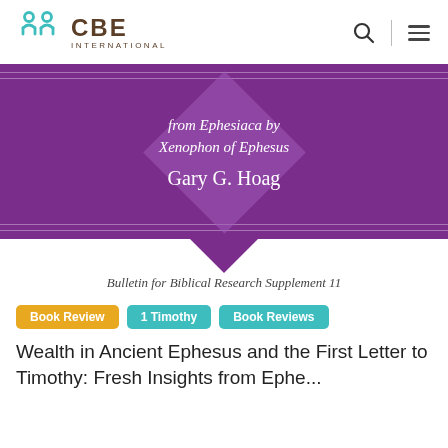[Figure (logo): CBE International logo with teal icon and brown text]
[Figure (illustration): Book cover with purple background showing 'from Ephesiaca by Xenophon of Ephesus' by Gary G. Hoag, Bulletin for Biblical Research Supplement 11]
Book Review
1 Timothy
Book Reviews
Wealth in Ancient Ephesus and the First Letter to Timothy: Fresh Insights from Ephesiaca by Xenophon of Ephe...